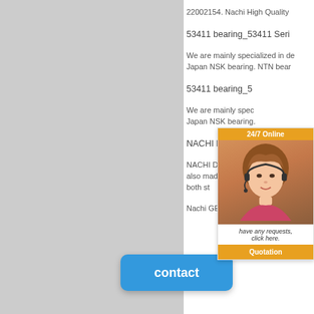[Figure (screenshot): Gray left panel / sidebar background]
22002154. Nachi High Quality
53411 bearing_53411 Seri
We are mainly specialized in de Japan NSK bearing. NTN bear
53411 bearing_5
We are mainly spec Japan NSK bearing.
NACHI Bearing Catalog -
NACHI Deep-groove Ball Bear also made to meet specialized both st... de m
Nachi GE Washer Tub Bea
[Figure (screenshot): 24/7 Online chat popup with woman wearing headset, orange header and Quotation button]
[Figure (screenshot): Blue contact button overlay]